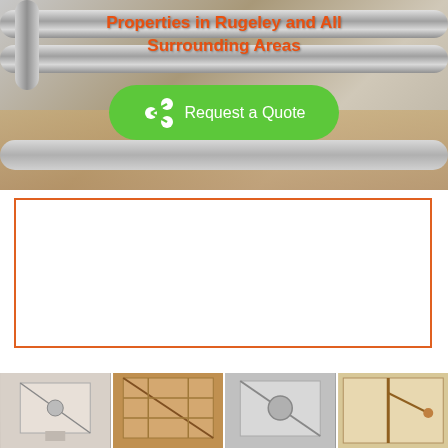[Figure (photo): Hero image with pipes/scaffolding background, orange bold title text 'Properties in Rugeley and All Surrounding Areas', and a green 'Request a Quote' button with share icon]
[Figure (other): Empty white box with orange border, likely an advertisement placeholder]
[Figure (photo): Row of four thumbnail images showing various loft ladder/hatch installations]